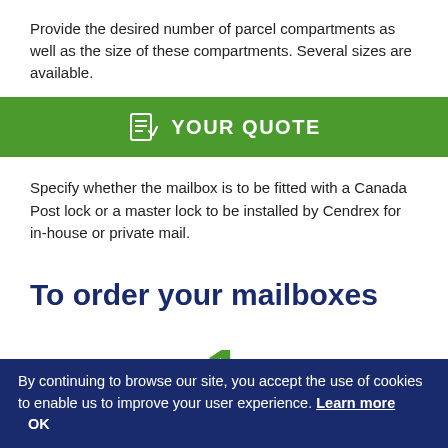Provide the desired number of parcel compartments as well as the size of these compartments. Several sizes are available.
YOUR QUOTE
Specify whether the mailbox is to be fitted with a Canada Post lock or a master lock to be installed by Cendrex for in-house or private mail.
To order your mailboxes
1
Attach a copy of the Cendrex quote to the order.
By continuing to browse our site, you accept the use of cookies to enable us to improve your user experience. Learn more   OK